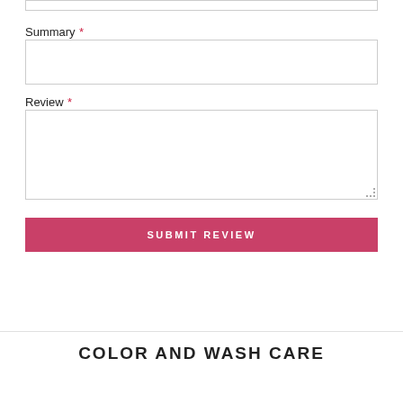Summary *
[Figure (screenshot): Empty text input box for Summary field]
Review *
[Figure (screenshot): Empty textarea for Review field with resize handle]
SUBMIT REVIEW
COLOR AND WASH CARE